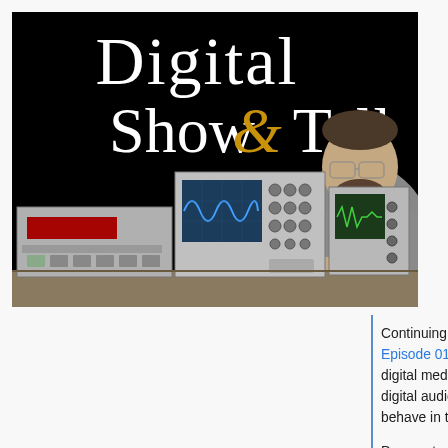[Figure (photo): Thumbnail image for 'Digital Show & Tell' video. Black background with large white serif text reading 'Digital Show & Tell' with an ampersand in gold/yellow italic. In the foreground, a bearded man wearing glasses and a grey patterned shirt leans on a wooden desk. On the desk are several pieces of electronic test equipment including oscilloscopes (one showing a blue sine wave on screen) and a rack-mounted unit with a red LED display.]
Continuing in the "firehose" tradition of Episode 01, Xiph.Org's second video on digital media explores multiple facets of digital audio signals and how they really behave in the real world.
Demonstrations of sampling, quantization, bit-depth, and dither explore digital audio behavior on real audio equipment using both modern